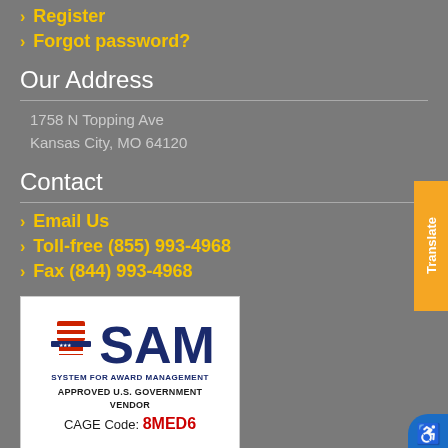Register
Forgot password?
Our Address
1758 N Topping Ave
Kansas City, MO 64120
Contact
Email Us
Toll-free (855) 993-4968
Fax (844) 993-4968
[Figure (logo): SAM - System for Award Management logo badge. Shows Uncle Sam hat graphic, text 'SAM SYSTEM FOR AWARD MANAGEMENT', 'APPROVED U.S. GOVERNMENT VENDOR', and 'CAGE Code: 8MED6']